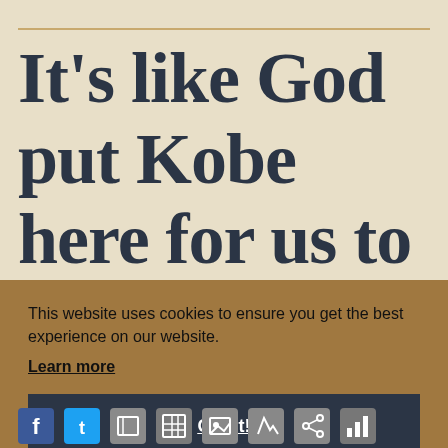It's like God put Kobe here for us to watch him
This website uses cookies to ensure you get the best experience on our website.
Learn more
Got it!
[Figure (infographic): Social media sharing icons bar at the bottom: Facebook, Twitter, copy, table/grid, image, edit/pen, share, bar chart icons]